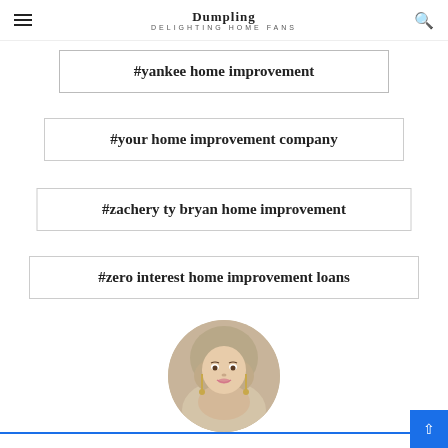Dumpling — DELIGHTING HOME FANS
#lowes home improvement
#yankee home improvement
#your home improvement company
#zachery ty bryan home improvement
#zero interest home improvement loans
[Figure (photo): Circular portrait photo of Grayce Min, a young woman wearing a hijab and earrings]
Grayce Min